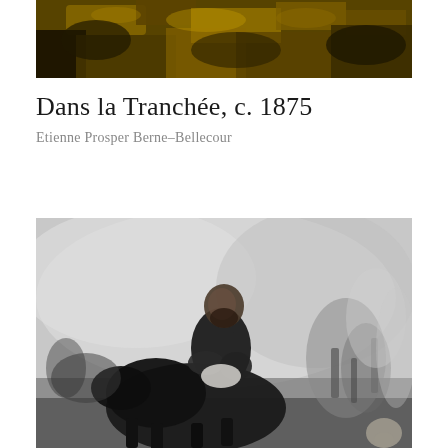[Figure (photo): Top portion of a painting showing warm golden-brown tones, appears to be the upper section of a historical painting with dark and ochre colors suggesting foliage or landscape background.]
Dans la Tranchée, c. 1875
Etienne Prosper Berne-Bellecour
[Figure (photo): Black and white photograph or reproduction of a painting showing a bearded man on horseback, dressed in dark military uniform, set against a smoky or cloudy battle scene background with indistinct figures to the right.]